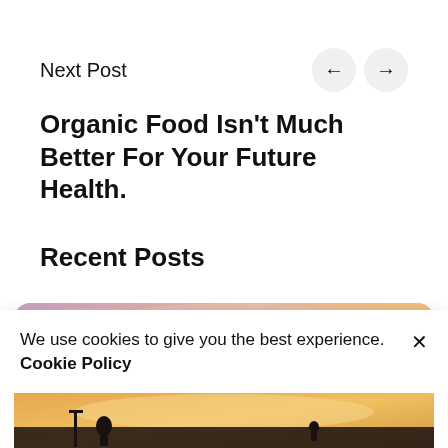Next Post
Organic Food Isn't Much Better For Your Future Health.
Recent Posts
[Figure (photo): A sunset sky with pink and purple clouds, with a dark silhouette of a small flag or pole at the bottom left.]
We use cookies to give you the best experience. Cookie Policy
[Figure (photo): Bottom portion of an image showing a silhouetted figure against a sunset background with warm orange and yellow tones.]